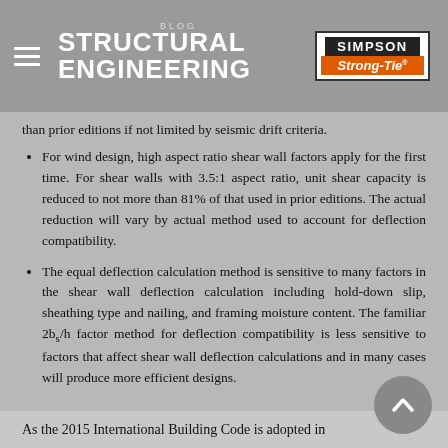STRUCTURAL ENGINEERING BLOG — Simpson Strong-Tie
than prior editions if not limited by seismic drift criteria.
For wind design, high aspect ratio shear wall factors apply for the first time. For shear walls with 3.5:1 aspect ratio, unit shear capacity is reduced to not more than 81% of that used in prior editions. The actual reduction will vary by actual method used to account for deflection compatibility.
The equal deflection calculation method is sensitive to many factors in the shear wall deflection calculation including hold-down slip, sheathing type and nailing, and framing moisture content. The familiar 2bs/h factor method for deflection compatibility is less sensitive to factors that affect shear wall deflection calculations and in many cases will produce more efficient designs.
As the 2015 International Building Code is adopted in